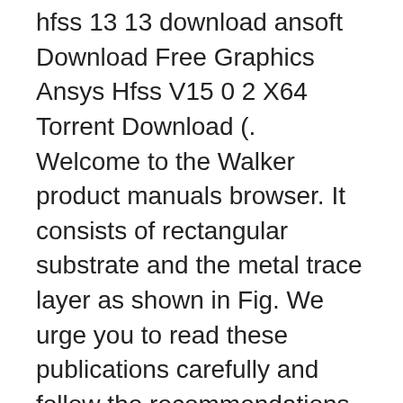hfss 13 13 download ansoft Download Free Graphics Ansys Hfss V15 0 2 X64 Torrent Download (. Welcome to the Walker product manuals browser. It consists of rectangular substrate and the metal trace layer as shown in Fig. We urge you to read these publications carefully and follow the recommendations to help assure enjoyable and safe operation of your Kia vehicle. The dimensions of antenna can be found in the HFSS simulation file. Browse LG User Manuals, User Guides, Quick Start & Help Guides to get more information on your mobile devices, home appliances and more. The emphasis is on a new class of filter, developed in recent years by utilizing non- AWR), HFSS and Symphony (by Ansoft) etc. y. 804-016c washer flat 1/2 sae plt 19. 1. 0 Southpointe November 2013 275 Technology